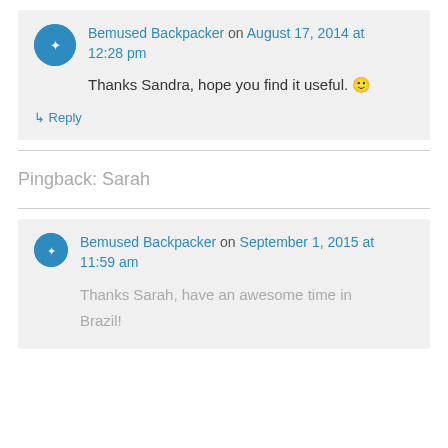Bemused Backpacker on August 17, 2014 at 12:28 pm
Thanks Sandra, hope you find it useful. 🙂
↳ Reply
Pingback: Sarah
Bemused Backpacker on September 1, 2015 at 11:59 am
Thanks Sarah, have an awesome time in Brazil!